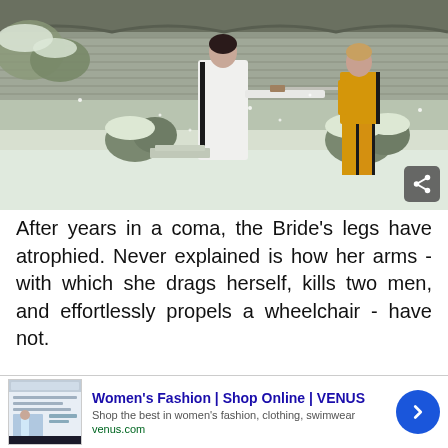[Figure (photo): Movie still from Kill Bill: Two characters in a snowy Japanese garden. One figure in a white robe on the left holding a sword, one figure in a yellow tracksuit on the right. Snow covers the ground and bushes.]
After years in a coma, the Bride's legs have atrophied. Never explained is how her arms - with which she drags herself, kills two men, and effortlessly propels a wheelchair - have not.
[Figure (screenshot): Advertisement for Women's Fashion | Shop Online | VENUS. Shows website thumbnail on left, ad title in blue, description 'Shop the best in women's fashion, clothing, swimwear', URL venus.com, and a blue circular arrow button on the right.]